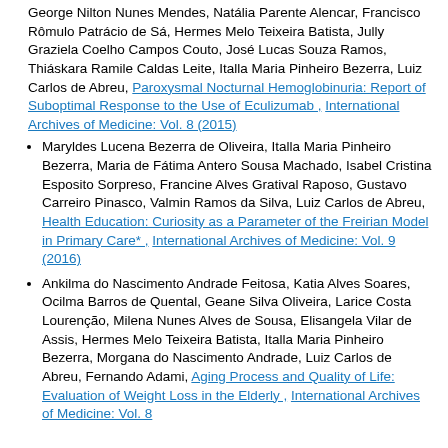George Nilton Nunes Mendes, Natália Parente Alencar, Francisco Rômulo Patrácio de Sá, Hermes Melo Teixeira Batista, Jully Graziela Coelho Campos Couto, José Lucas Souza Ramos, Thiáskara Ramile Caldas Leite, Italla Maria Pinheiro Bezerra, Luiz Carlos de Abreu, Paroxysmal Nocturnal Hemoglobinuria: Report of Suboptimal Response to the Use of Eculizumab , International Archives of Medicine: Vol. 8 (2015)
Maryldes Lucena Bezerra de Oliveira, Italla Maria Pinheiro Bezerra, Maria de Fátima Antero Sousa Machado, Isabel Cristina Esposito Sorpreso, Francine Alves Gratival Raposo, Gustavo Carreiro Pinasco, Valmin Ramos da Silva, Luiz Carlos de Abreu, Health Education: Curiosity as a Parameter of the Freirian Model in Primary Care* , International Archives of Medicine: Vol. 9 (2016)
Ankilma do Nascimento Andrade Feitosa, Katia Alves Soares, Ocilma Barros de Quental, Geane Silva Oliveira, Larice Costa Lourenção, Milena Nunes Alves de Sousa, Elisangela Vilar de Assis, Hermes Melo Teixeira Batista, Italla Maria Pinheiro Bezerra, Morgana do Nascimento Andrade, Luiz Carlos de Abreu, Fernando Adami, Aging Process and Quality of Life: Evaluation of Weight Loss in the Elderly , International Archives of Medicine: Vol. 8